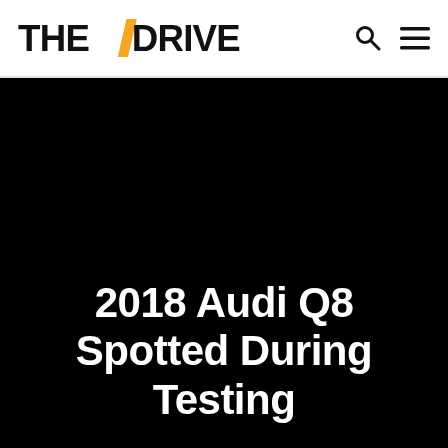THE DRIVE
[Figure (photo): Dark/black hero image background for article about 2018 Audi Q8 spotted during testing]
2018 Audi Q8 Spotted During Testing